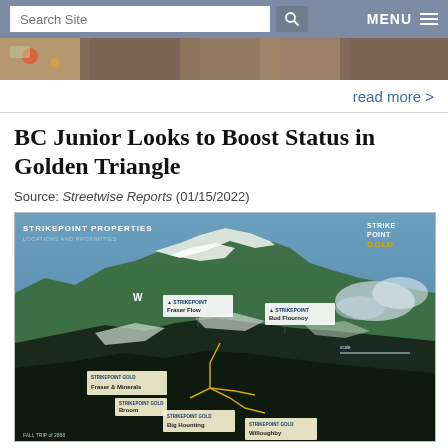Search Site | MENU
[Figure (photo): Hero banner image showing rocks or minerals in warm earthy tones]
read more >
BC Junior Looks to Boost Status in Golden Triangle
Source: Streetwise Reports (01/15/2022)
[Figure (map): 3D terrain map labeled 'STRIKEPOINT PROPERTIES LOCATIONS AND PROXIMITIES' showing mountainous area with labeled property locations including Fraser Flow, Bud Flournoy, Fraser & Minerals, Broom, Big Hounding, and Willoughby. STRIKE POINT GOLD logo in top right corner.]